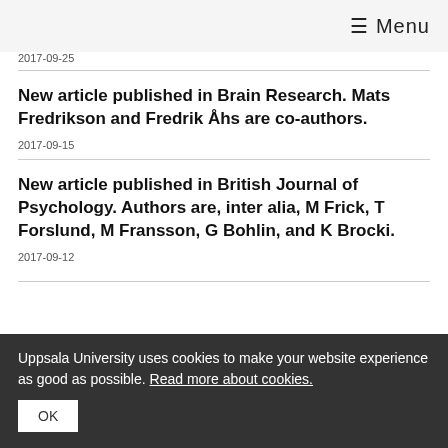≡ Menu
2017-09-25
New article published in Brain Research. Mats Fredrikson and Fredrik Åhs are co-authors.
2017-09-15
New article published in British Journal of Psychology. Authors are, inter alia, M Frick, T Forslund, M Fransson, G Bohlin, and K Brocki.
2017-09-12
Uppsala University uses cookies to make your website experience as good as possible. Read more about cookies. OK